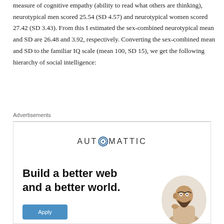measure of cognitive empathy (ability to read what others are thinking), neurotypical men scored 25.54 (SD 4.57) and neurotypical women scored 27.42 (SD 3.43). From this I estimated the sex-combined neurotypical mean and SD are 26.48 and 3.92, respectively. Converting the sex-combined mean and SD to the familiar IQ scale (mean 100, SD 15), we get the following hierarchy of social intelligence:
Advertisements
[Figure (other): Automattic advertisement banner with logo, tagline 'Build a better web and a better world.', Apply button, and circular photo of a man thinking.]